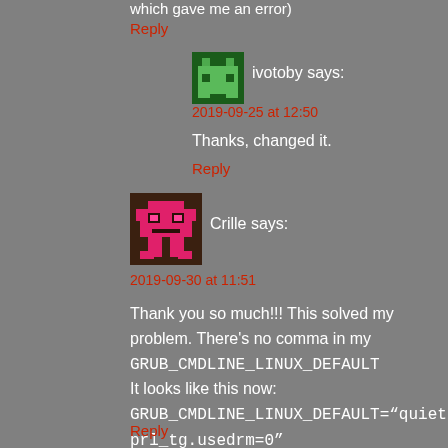which gave me an error)
Reply
[Figure (illustration): Pixel art avatar for user ivotoby - green blocky character on dark green background]
ivotoby says:
2019-09-25 at 12:50
Thanks, changed it.
Reply
[Figure (illustration): Pixel art avatar for user Crille - pink/magenta blocky robot character on dark brown background]
Crille says:
2019-09-30 at 11:51
Thank you so much!!! This solved my problem. There's no comma in my GRUB_CMDLINE_LINUX_DEFAULT
It looks like this now:
GRUB_CMDLINE_LINUX_DEFAULT="quiet prl_tg.usedrm=0"
Don't forget to run update-grub before rebooting (that was my mistake). Again, thank you :)
Reply